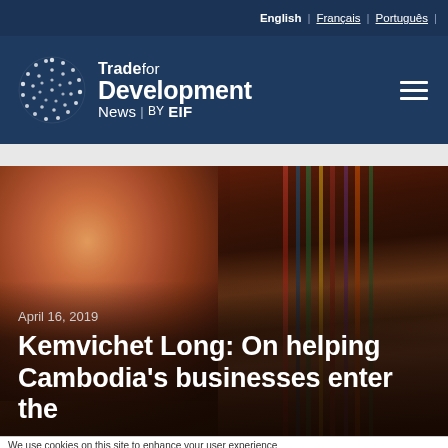English | Français | Português |
[Figure (logo): Trade for Development News by EIF logo with dot-globe icon on dark navy background, with hamburger menu icon on the right]
[Figure (photo): Close-up photo of a Cambodian woman weaving or working with colorful textile fabrics/threads]
April 16, 2019
Kemvichet Long: On helping Cambodia's businesses enter the
We use cookies on this site to enhance your user experience